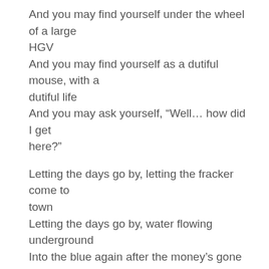And you may find yourself under the wheel of a large HGV
And you may find yourself as a dutiful mouse, with a dutiful life
And you may ask yourself, “Well… how did I get here?”
Letting the days go by, letting the fracker come to town
Letting the days go by, water flowing underground
Into the blue again after the money’s gone
Once in a lifetime, water flowing underground
And you may ask yourself, “How do I stop this?”
And you may ask yourself, “Whose is that large HGV?”
And you may tell yourself, “I am not that dutiful mouse”